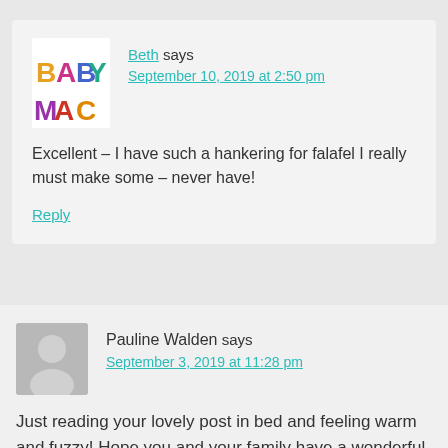[Figure (logo): Baby Mac blog logo with colorful letters]
Beth says
September 10, 2019 at 2:50 pm
Excellent – I have such a hankering for falafel I really must make some – never have!
Reply
[Figure (photo): Generic grey avatar silhouette]
Pauline Walden says
September 3, 2019 at 11:28 pm
Just reading your lovely post in bed and feeling warm and fuzzy! Hope you and your family have a wonderful spring. Off to sleep to dream (and maybe smell) some beautiful daphne. X